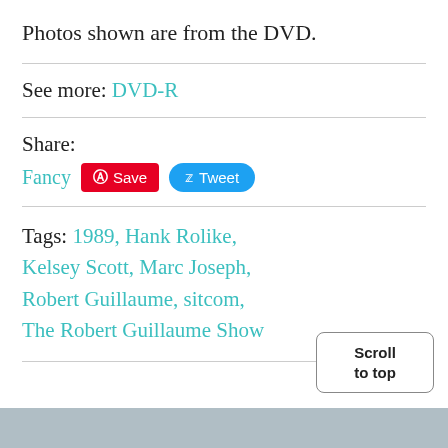Photos shown are from the DVD.
See more: DVD-R
Share:
Fancy  Save  Tweet
Tags: 1989, Hank Rolike, Kelsey Scott, Marc Joseph, Robert Guillaume, sitcom, The Robert Guillaume Show
Scroll to top